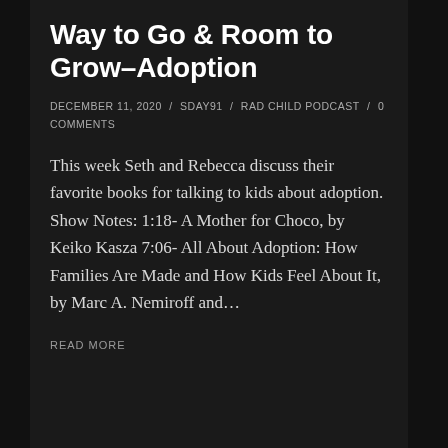Way to Go & Room to Grow–Adoption
DECEMBER 11, 2020 / SDAY91 / RAD CHILD PODCAST / 0 COMMENTS
This week Seth and Rebecca discuss their favorite books for talking to kids about adoption. Show Notes: 1:18- A Mother for Choco, by Keiko Kasza 7:06- All About Adoption: How Families Are Made and How Kids Feel About It, by Marc A. Nemiroff and…
READ MORE